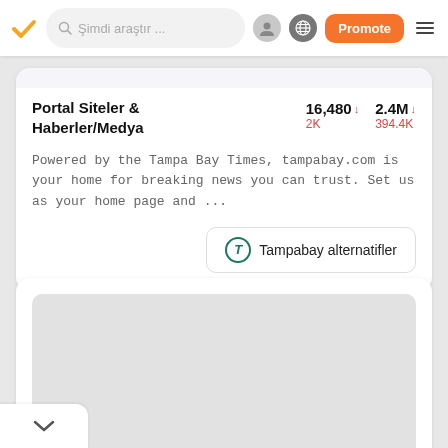Şimdi araştır ...
Portal Siteler & Haberler/Medya
16,480 ↓  2K     2.4M ↓  394.4K
Powered by the Tampa Bay Times, tampabay.com is your home for breaking news you can trust. Set us as your home page and ...
Tampabay alternatifler
[Figure (screenshot): Lower card showing a partially visible content area with gray placeholder block and a white chevron/back button in bottom left]